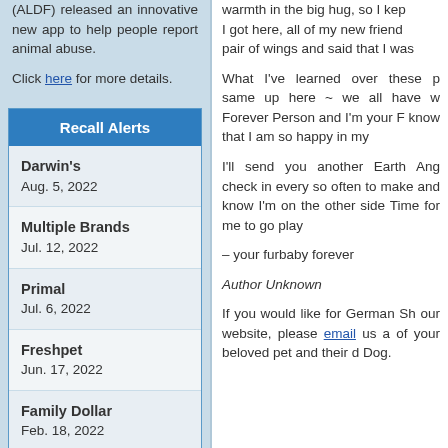(ALDF) released an innovative new app to help people report animal abuse.
Click here for more details.
Recall Alerts
Darwin's
Aug. 5, 2022
Multiple Brands
Jul. 12, 2022
Primal
Jul. 6, 2022
Freshpet
Jun. 17, 2022
Family Dollar
Feb. 18, 2022
warmth in the big hug, so I kep... I got here, all of my new friend... pair of wings and said that I was...
What I've learned over these p... same up here ~ we all have w... Forever Person and I'm your F... know that I am so happy in my...
I'll send you another Earth Ang... check in every so often to make... and know I'm on the other side... Time for me to go play
– your furbaby forever
Author Unknown
If you would like for German Sh... our website, please email us a... of your beloved pet and their d... Dog.